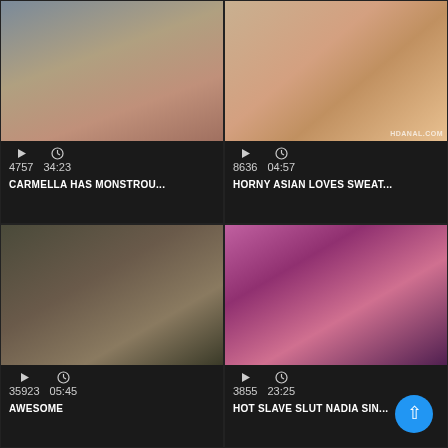[Figure (screenshot): Video thumbnail 1: woman in red lingerie on staircase]
4757   34:23   CARMELLA HAS MONSTROU...
[Figure (screenshot): Video thumbnail 2: explicit adult content, HDANAL.COM watermark]
8636   04:57   HORNY ASIAN LOVES SWEAT...
[Figure (screenshot): Video thumbnail 3: close-up face, low quality]
35923   05:45   AWESOME
[Figure (screenshot): Video thumbnail 4: woman in fishnet on pink background with collar]
3855   23:25   HOT SLAVE SLUT NADIA SIN...